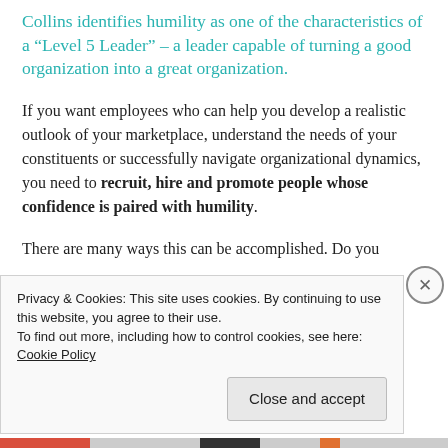Collins identifies humility as one of the characteristics of a “Level 5 Leader” – a leader capable of turning a good organization into a great organization.
If you want employees who can help you develop a realistic outlook of your marketplace, understand the needs of your constituents or successfully navigate organizational dynamics, you need to recruit, hire and promote people whose confidence is paired with humility.
There are many ways this can be accomplished. Do you
Privacy & Cookies: This site uses cookies. By continuing to use this website, you agree to their use.
To find out more, including how to control cookies, see here: Cookie Policy
Close and accept